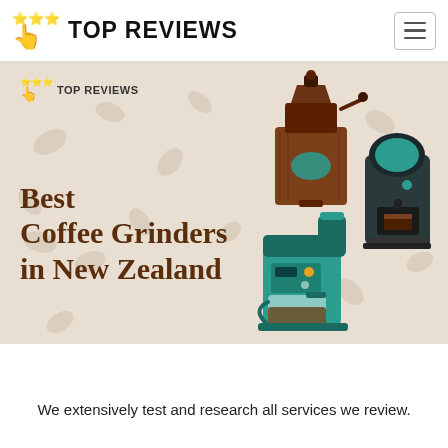TOP REVIEWS
[Figure (illustration): Hero banner with beige background showing coffee appliance illustrations: a manual coffee grinder (brown), a capsule coffee machine (dark with teal accent), and a drip coffee maker (teal/black). Small Top Reviews logo in top-left of banner with stars and hand pointer icon.]
Best Coffee Grinders in New Zealand
We extensively test and research all services we review.